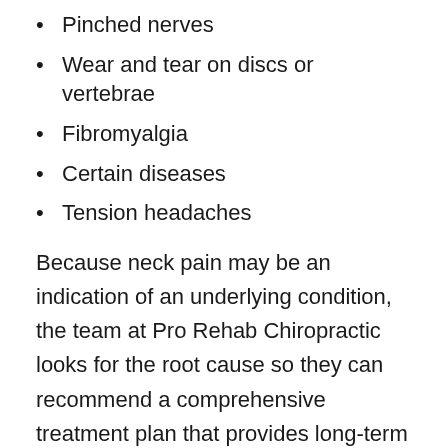Pinched nerves
Wear and tear on discs or vertebrae
Fibromyalgia
Certain diseases
Tension headaches
Because neck pain may be an indication of an underlying condition, the team at Pro Rehab Chiropractic looks for the root cause so they can recommend a comprehensive treatment plan that provides long-term relief from pain using natural, proven techniques.
How do you treat neck pain?